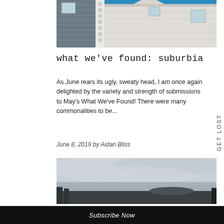[Figure (photo): Close-up of white house exterior with decorative trim, blue sky visible. Two buildings visible with siding and eaves.]
what we've found: suburbia
As June rears its ugly, sweaty head, I am once again delighted by the variety and strength of submissions to May's What We've Found! There were many commonalities to be...
June 8, 2019 by Aidan Bliss
[Figure (photo): Overcast sky with low clouds, dark silhouette of trees and hills at bottom, muted grey-blue tones.]
Subscribe Now